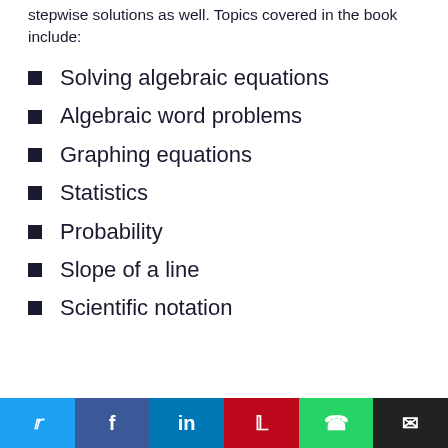stepwise solutions as well. Topics covered in the book include:
Solving algebraic equations
Algebraic word problems
Graphing equations
Statistics
Probability
Slope of a line
Scientific notation
Social share bar: Twitter, Facebook, LinkedIn, Pinterest, WhatsApp, Email